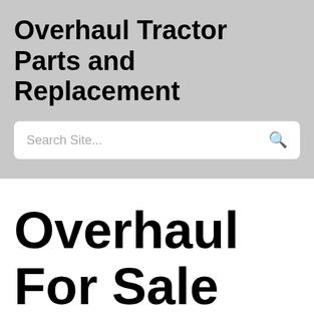Overhaul Tractor Parts and Replacement
Search Site...
Overhaul For Sale